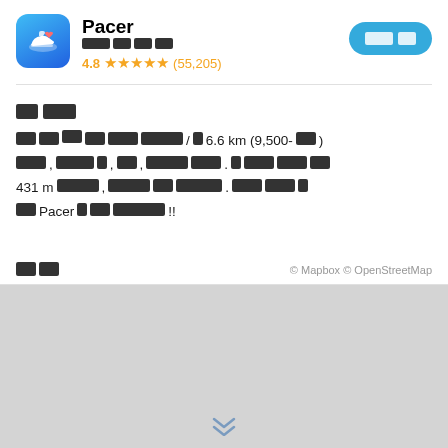[Figure (logo): Pacer app icon: blue gradient background with a white sneaker/shoe icon]
Pacer
XXX XX XX XX
4.8 ★★★★★ (55,205)
XXX XX (button)
XX XXX
XX XX XX-XX XXX XXXXX/X 6.6 km (9,500-XX) XXX, XXXX X, XX, XXXXX XXX. X XXX XXX XX 431 m XXXXX, XXXXX XX XXXXX. XXX XXX X XX Pacer X XX XXXXXX!!
XX
© Mapbox © OpenStreetMap
[Figure (map): Gray map area placeholder at the bottom of the screen]